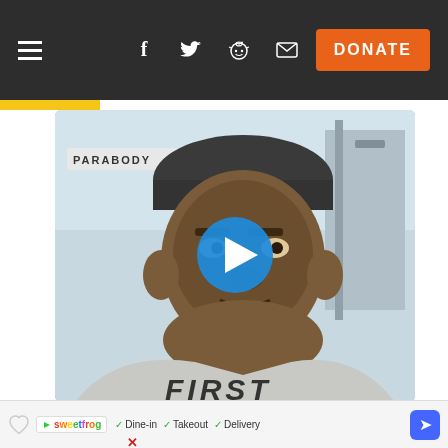Navigation bar with hamburger menu, social icons (Facebook, Twitter, Reddit, Email), and DONATE button
[Figure (photo): Video thumbnail showing a man wearing a backward cap and a gray 'FIRST' t-shirt in a gym setting with PARABODY equipment visible. A blue play button is overlaid in the center.]
11:46 PM · Jun 30, 2019
sweetfrog ✓ Dine-in ✓ Takeout ✓ Delivery